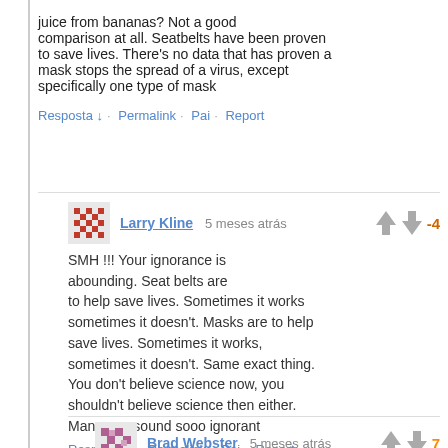juice from bananas? Not a good comparison at all. Seatbelts have been proven to save lives. There's no data that has proven a mask stops the spread of a virus, except specifically one type of mask
Resposta ↓ · Permalink · Pai · Report
Larry Kline 5 meses atrás -4
SMH !!! Your ignorance is abounding. Seat belts are to help save lives. Sometimes it works sometimes it doesn't. Masks are to help save lives. Sometimes it works, sometimes it doesn't. Same exact thing. You don't believe science now, you shouldn't believe science then either. Man , you sound sooo ignorant
Resposta ↓ · Permalink · Pai · Report
Brad Webster 5 meses atrás 7
According to even the label on mask box states they don't stop covid. You already knew that didn't you
Resposta ↓ · Permalink · Pai · Report
AWAAIum 5 meses atrás